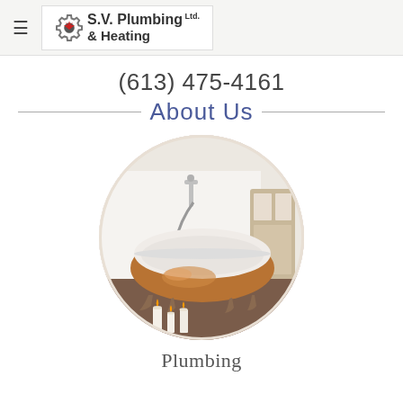S.V. Plumbing Ltd. & Heating
(613) 475-4161
About Us
[Figure (photo): Circular cropped photo of an elegant freestanding clawfoot bathtub with a copper/bronze exterior, white interior, wall-mounted faucet with handheld shower, candles on the floor, and a rustic cabinet in the background.]
Plumbing